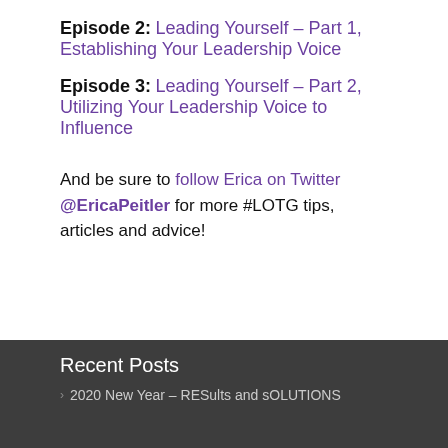Episode 2: Leading Yourself – Part 1, Establishing Your Leadership Voice
Episode 3: Leading Yourself – Part 2, Utilizing Your Leadership Voice to Influence
And be sure to follow Erica on Twitter @EricaPeitler for more #LOTG tips, articles and advice!
Recent Posts
2020 New Year – RESults and sOLUTIONS
LOTG S... #7 P... t Epis... 9: The...